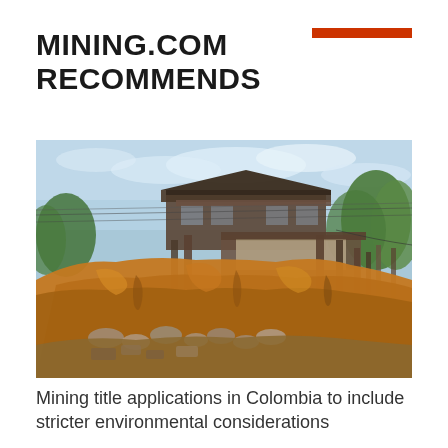MINING.COM RECOMMENDS
[Figure (photo): Photograph of a Colombian mining site showing a hillside with orange/rust-colored earth excavation, dilapidated wooden structures and buildings on top of the mound, with blue sky and green vegetation in the background.]
Mining title applications in Colombia to include stricter environmental considerations